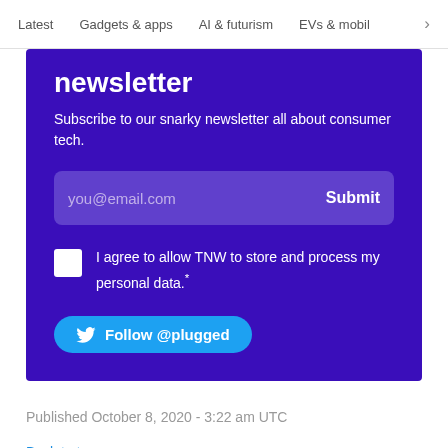Latest   Gadgets & apps   AI & futurism   EVs & mobil >
newsletter
Subscribe to our snarky newsletter all about consumer tech.
you@email.com  Submit
I agree to allow TNW to store and process my personal data.*
Follow @plugged
Published October 8, 2020 - 3:22 am UTC
Back to top